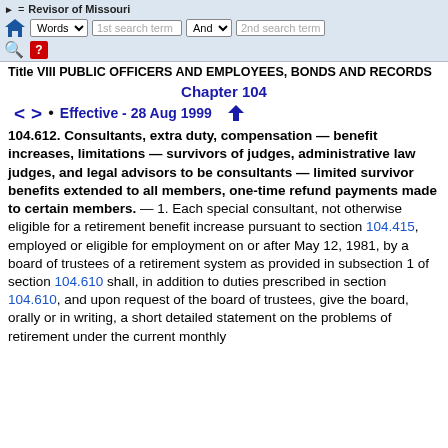▶ = Revisor of Missouri | Words | 1st search term | And | 2nd search term
Title VIII PUBLIC OFFICERS AND EMPLOYEES, BONDS AND RECORDS
Chapter 104
< > • Effective - 28 Aug 1999 ↓
104.612. Consultants, extra duty, compensation — benefit increases, limitations — survivors of judges, administrative law judges, and legal advisors to be consultants — limited survivor benefits extended to all members, one-time refund payments made to certain members. — 1. Each special consultant, not otherwise eligible for a retirement benefit increase pursuant to section 104.415, employed or eligible for employment on or after May 12, 1981, by a board of trustees of a retirement system as provided in subsection 1 of section 104.610 shall, in addition to duties prescribed in section 104.610, and upon request of the board of trustees, give the board, orally or in writing, a short detailed statement on the problems of retirement under the current monthly